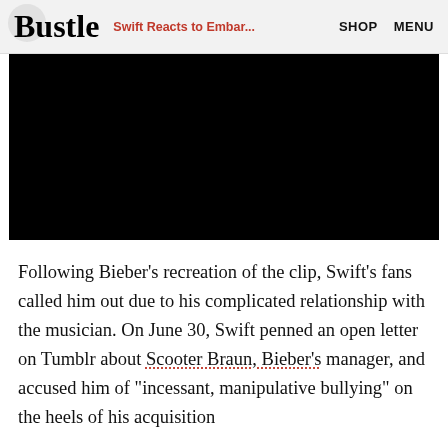Bustle  Swift Reacts to Embar...  SHOP  MENU
[Figure (photo): Black rectangle representing a redacted or unavailable image/video thumbnail]
Following Bieber’s recreation of the clip, Swift’s fans called him out due to his complicated relationship with the musician. On June 30, Swift penned an open letter on Tumblr about Scooter Braun, Bieber’s manager, and accused him of “incessant, manipulative bullying” on the heels of his acquisition